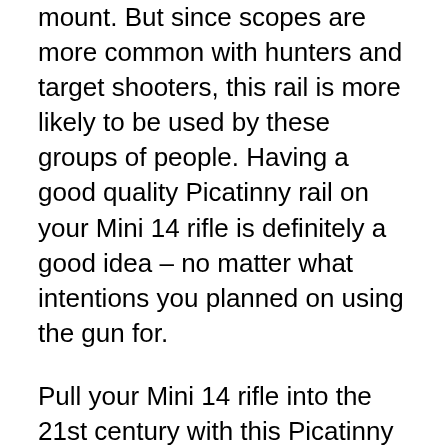mount. But since scopes are more common with hunters and target shooters, this rail is more likely to be used by these groups of people. Having a good quality Picatinny rail on your Mini 14 rifle is definitely a good idea – no matter what intentions you planned on using the gun for.
Pull your Mini 14 rifle into the 21st century with this Picatinny rail mount upgrade. The rail has been accurately designed to be robust, and prevent any ejection issues with the rifle. It is easy to mount and dismount from your Mini 14 rifles, and it holds zero steadily even under extreme maneuvers and when rattled.
It is perfect for red dot sights in particular